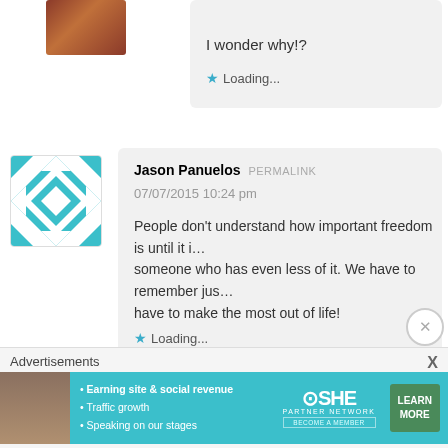[Figure (screenshot): Avatar image of a building (red/orange)]
07/07/2015 9:44 pm
I wonder why!?
★ Loading...
[Figure (illustration): Avatar with teal/white geometric diamond pattern]
Jason Panuelos PERMALINK
07/07/2015 10:24 pm
People don't understand how important freedom is until it is... someone who has even less of it. We have to remember just... have to make the most out of life!
★ Loading...
Advertisements
[Figure (infographic): SHE Partner Network advertisement banner with teal background, bullet points about Earning site & social revenue, Traffic growth, Speaking on our stages, SHE logo, and LEARN MORE button]